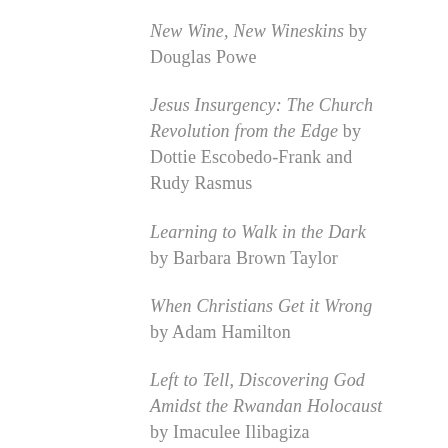New Wine, New Wineskins by Douglas Powe
Jesus Insurgency: The Church Revolution from the Edge by Dottie Escobedo-Frank and Rudy Rasmus
Learning to Walk in the Dark by Barbara Brown Taylor
When Christians Get it Wrong by Adam Hamilton
Left to Tell, Discovering God Amidst the Rwandan Holocaust by Imaculee Ilibagiza